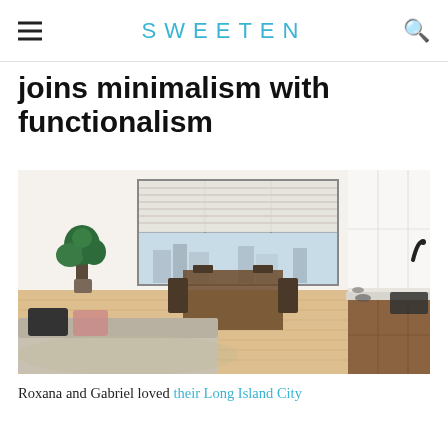SWEETEN
joins minimalism with functionalism
[Figure (photo): Interior photo of a modern open-plan apartment showing a living/dining area with hardwood floors, large windows with roller blinds, plants, sofa with pillows, dining table with chairs, and a kitchen counter with walnut cabinets, white upper cabinets, black faucet and sink, and gas cooktop.]
Roxana and Gabriel loved their Long Island City